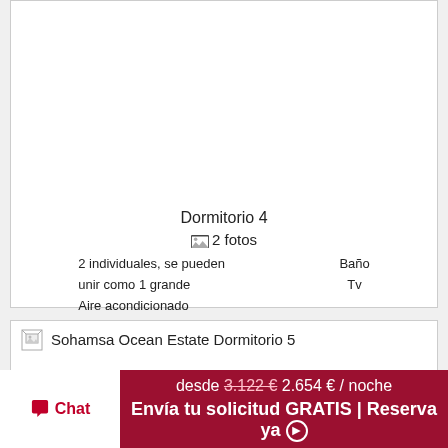[Figure (photo): Empty white image area for Dormitorio 4]
Dormitorio 4
2 fotos
2 individuales, se pueden unir como 1 grande
Aire acondicionado
Baño
Tv
[Figure (photo): Sohamsa Ocean Estate Dormitorio 5 - broken image placeholder]
Sohamsa Ocean Estate Dormitorio 5
desde 3.122 € 2.654 € / noche Envía tu solicitud GRATIS | Reserva ya
Chat